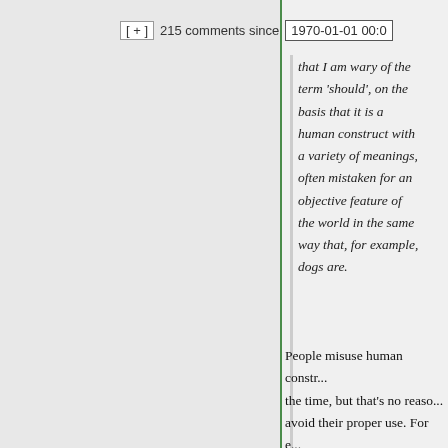[ + ]   215 comments since   1970-01-01 00:0
that I am wary of the term ‘should’, on the basis that it is a human construct with a variety of meanings, often mistaken for an objective feature of the world in the same way that, for example, dogs are.
People misuse human constructs all the time, but that’s no reason to avoid their proper use. For e... the common mistake of thinking value is intrinsic is no reason to avoid using the term “value” ... have to be clear about the w...